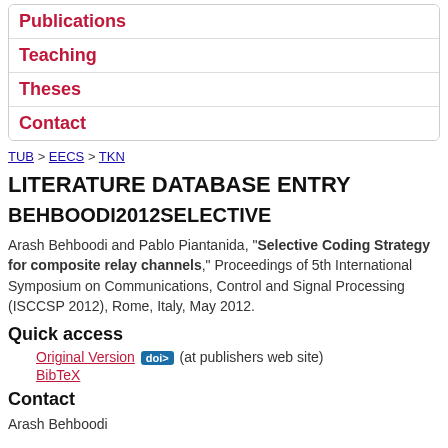Publications
Teaching
Theses
Contact
TUB > EECS > TKN
LITERATURE DATABASE ENTRY
BEHBOODI2012SELECTIVE
Arash Behboodi and Pablo Piantanida, "Selective Coding Strategy for composite relay channels," Proceedings of 5th International Symposium on Communications, Control and Signal Processing (ISCCSP 2012), Rome, Italy, May 2012.
Quick access
Original Version doi> (at publishers web site)
BibTeX
Contact
Arash Behboodi